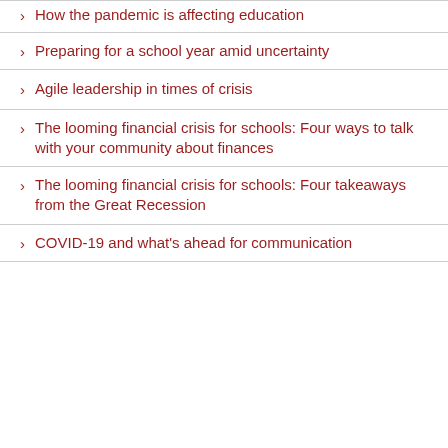How the pandemic is affecting education
Preparing for a school year amid uncertainty
Agile leadership in times of crisis
The looming financial crisis for schools: Four ways to talk with your community about finances
The looming financial crisis for schools: Four takeaways from the Great Recession
COVID-19 and what's ahead for communication